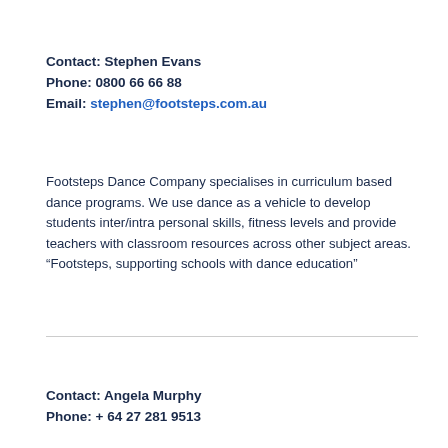Contact: Stephen Evans
Phone: 0800 66 66 88
Email: stephen@footsteps.com.au
Footsteps Dance Company specialises in curriculum based dance programs. We use dance as a vehicle to develop students inter/intra personal skills, fitness levels and provide teachers with classroom resources across other subject areas. “Footsteps, supporting schools with dance education”
Contact: Angela Murphy
Phone: + 64 27 281 9513